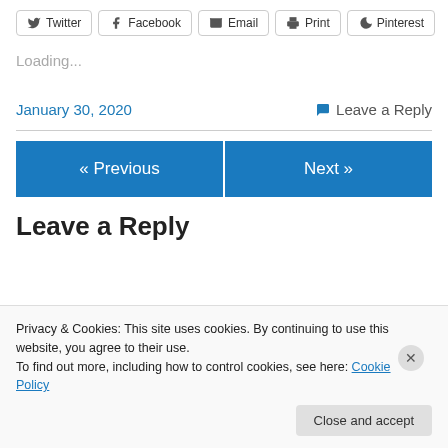Twitter  Facebook  Email  Print  Pinterest
Loading...
January 30, 2020
Leave a Reply
« Previous
Next »
Leave a Reply
Privacy & Cookies: This site uses cookies. By continuing to use this website, you agree to their use.
To find out more, including how to control cookies, see here: Cookie Policy
Close and accept